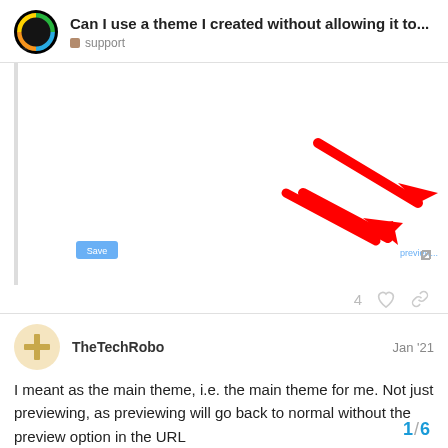Can I use a theme I created without allowing it to... | support
[Figure (screenshot): Screenshot of a UI showing a save button and an expand icon with a red arrow pointing to a small element in the lower right of the interface.]
4
TheTechRobo  Jan '21
I meant as the main theme, i.e. the main theme for me. Not just previewing, as previewing will go back to normal without the preview option in the URL
1 / 6